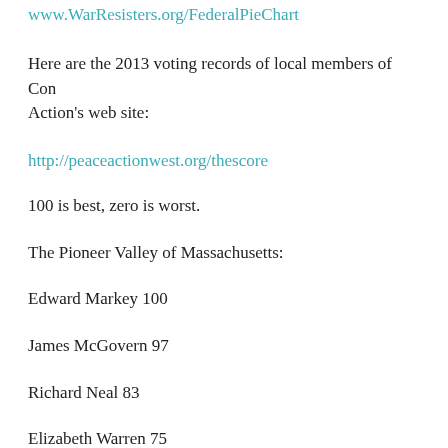www.WarResisters.org/FederalPieChart
Here are the 2013 voting records of local members of Con Action's web site:
http://peaceactionwest.org/thescore
100 is best, zero is worst.
The Pioneer Valley of Massachusetts:
Edward Markey 100
James McGovern 97
Richard Neal 83
Elizabeth Warren 75